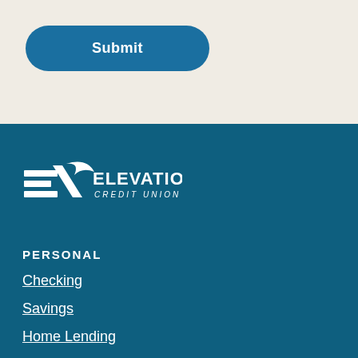[Figure (screenshot): Blue rounded Submit button on a beige/cream background]
[Figure (logo): Elevations Credit Union logo in white on dark teal background]
PERSONAL
Checking
Savings
Home Lending